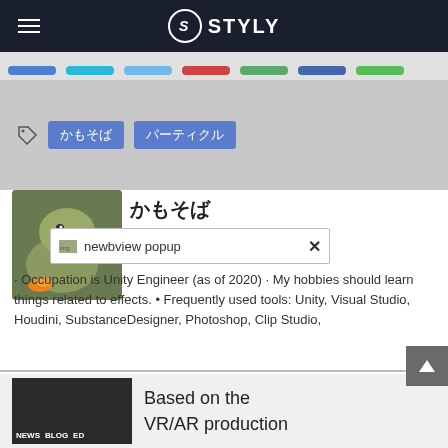STYLY
[Figure (screenshot): Tab bar with colored pill-shaped tabs in blue, cyan, light blue, red, green, dark blue, and green colors on a gray background]
かもそば　パーティクル
[Figure (illustration): Illustrated avatar of かもそば showing a stylized duck/plant character with olive green tones]
かもそば
[Figure (screenshot): newbview popup overlay with close X button]
· Occupation is Unity Engineer (as of 2020) · My hobbies should learn things related to effects. • Frequently used tools: Unity, Visual Studio, Houdini, SubstanceDesigner, Photoshop, Clip Studio,
[Figure (screenshot): Bottom card thumbnail showing NEWS BLOG ED labels on dark background]
Based on the VR/AR production